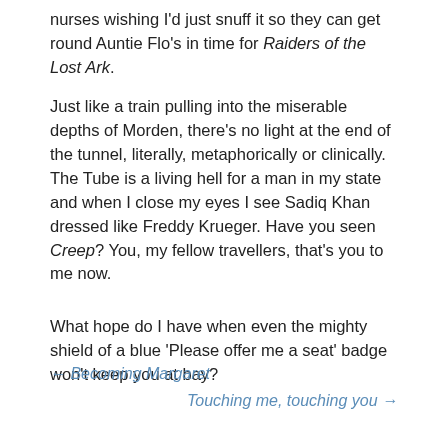nurses wishing I'd just snuff it so they can get round Auntie Flo's in time for Raiders of the Lost Ark.
Just like a train pulling into the miserable depths of Morden, there's no light at the end of the tunnel, literally, metaphorically or clinically. The Tube is a living hell for a man in my state and when I close my eyes I see Sadiq Khan dressed like Freddy Krueger. Have you seen Creep? You, my fellow travellers, that's you to me now.
What hope do I have when even the mighty shield of a blue ‘Please offer me a seat’ badge won’t keep you at bay?
← Becoming Margaret
Touching me, touching you →